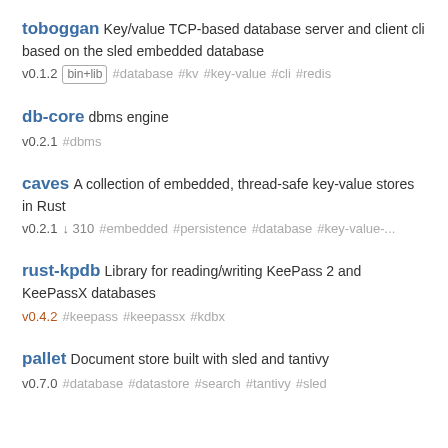toboggan  Key/value TCP-based database server and client cli based on the sled embedded database
v0.1.2  bin+lib  #database  #kv  #key-value  #cli  #redis
db-core  dbms engine
v0.2.1  #dbms
caves  A collection of embedded, thread-safe key-value stores in Rust
v0.2.1  ↓310  #embedded  #persistence  #database  #key-value-...
rust-kpdb  Library for reading/writing KeePass 2 and KeePassX databases
v0.4.2  #keepass  #keepassx  #kdbx
pallet  Document store built with sled and tantivy
v0.7.0  #database  #datastore  #search  #tantivy  #sled